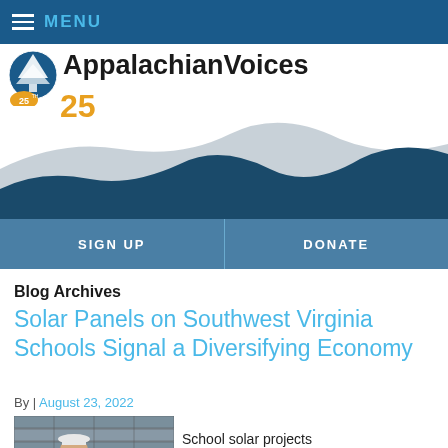MENU
[Figure (logo): AppalachianVoices logo with tree emblem and 25th anniversary badge, with mountain silhouette illustration below]
SIGN UP  DONATE
Blog Archives
Solar Panels on Southwest Virginia Schools Signal a Diversifying Economy
By | August 23, 2022
[Figure (photo): Person wearing hard hat and safety glasses on a solar panel rooftop installation]
School solar projects demonstrate how Virginia's